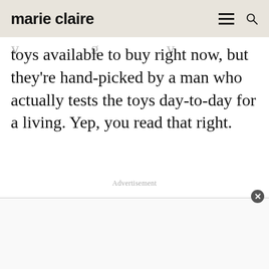marie claire
toys available to buy right now, but they're hand-picked by a man who actually tests the toys day-to-day for a living. Yep, you read that right.
Advertisement